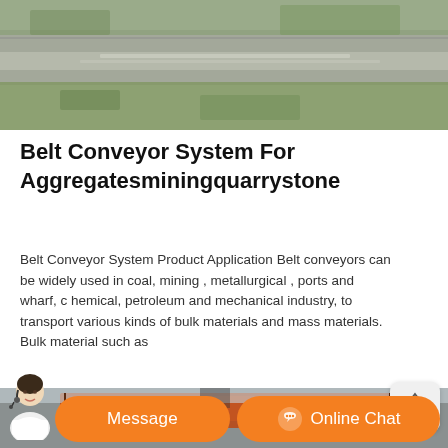[Figure (photo): Aerial or elevated view of a belt conveyor system outdoors, showing a long conveyor belt running across a landscape with dirt and grass visible.]
Belt Conveyor System For Aggregatesminingquarrystone
Belt Conveyor System Product Application Belt conveyors can be widely used in coal, mining , metallurgical , ports and wharf, c hemical, petroleum and mechanical industry, to transport various kinds of bulk materials and mass materials. Bulk material such as
[Figure (photo): Photo of a large industrial belt conveyor structure, rust-colored/orange, with a worker visible on top, against a sky background with trees and poles.]
Message
Online Chat